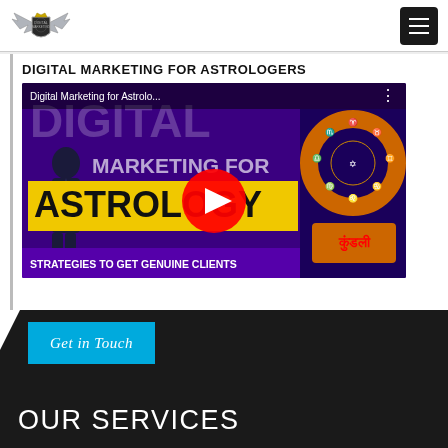[Figure (logo): Shield/wings logo with crown on top, silver metallic style]
[Figure (screenshot): YouTube video thumbnail for 'Digital Marketing for Astrologers' showing a man in a suit, purple background with text DIGITAL, MARKETING FOR, ASTROLOGY in yellow bar, STRATEGIES TO GET GENUINE CLIENTS at bottom, zodiac wheel on right side. Large red YouTube play button in center.]
DIGITAL MARKETING FOR ASTROLOGERS
Get in Touch
OUR SERVICES